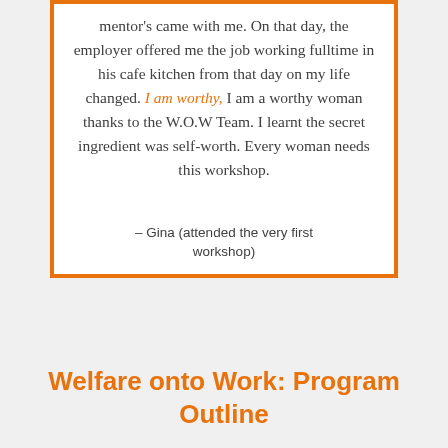mentor's came with me. On that day, the employer offered me the job working fulltime in his cafe kitchen from that day on my life changed. I am worthy, I am a worthy woman thanks to the W.O.W Team. I learnt the secret ingredient was self-worth. Every woman needs this workshop.
– Gina (attended the very first workshop)
Welfare onto Work: Program Outline